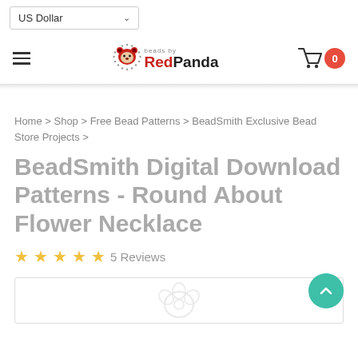US Dollar
[Figure (logo): Red Panda Beads logo with a red panda illustration and dotted ring, text reading RedPanda with store name above]
Home > Shop > Free Bead Patterns > BeadSmith Exclusive Bead Store Projects >
BeadSmith Digital Download Patterns - Round About Flower Necklace
★★★★★ 5 Reviews
[Figure (illustration): Partial product image showing a faint flower/panda sketch at bottom of page]